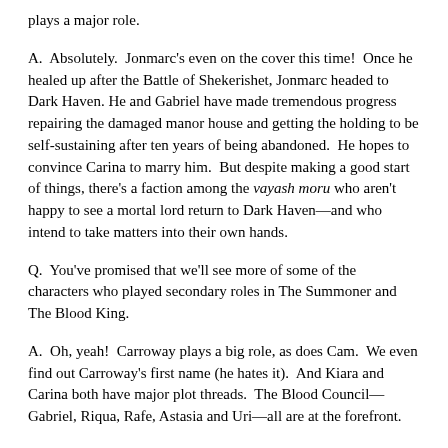plays a major role.
A.  Absolutely.  Jonmarc's even on the cover this time!  Once he healed up after the Battle of Shekerishet, Jonmarc headed to Dark Haven. He and Gabriel have made tremendous progress repairing the damaged manor house and getting the holding to be self-sustaining after ten years of being abandoned.  He hopes to convince Carina to marry him.  But despite making a good start of things, there's a faction among the vayash moru who aren't happy to see a mortal lord return to Dark Haven—and who intend to take matters into their own hands.
Q.  You've promised that we'll see more of some of the characters who played secondary roles in The Summoner and The Blood King.
A.  Oh, yeah!  Carroway plays a big role, as does Cam.  We even find out Carroway's first name (he hates it).  And Kiara and Carina both have major plot threads.  The Blood Council—Gabriel, Riqua, Rafe, Astasia and Uri—all are at the forefront.